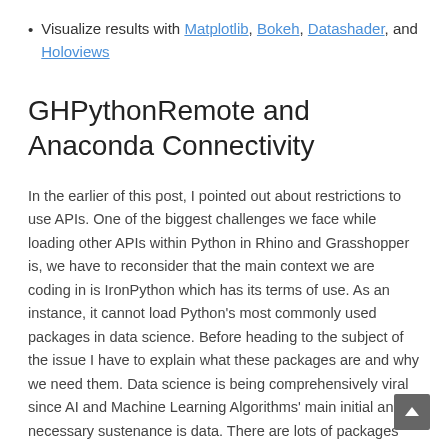Visualize results with Matplotlib, Bokeh, Datashader, and Holoviews
GHPythonRemote and Anaconda Connectivity
In the earlier of this post, I pointed out about restrictions to use APIs. One of the biggest challenges we face while loading other APIs within Python in Rhino and Grasshopper is, we have to reconsider that the main context we are coding in is IronPython which has its terms of use. As an instance, it cannot load Python's most commonly used packages in data science. Before heading to the subject of the issue I have to explain what these packages are and why we need them. Data science is being comprehensively viral since AI and Machine Learning Algorithms' main initial and necessary sustenance is data. There are lots of packages you can search for different data types, a high mathematical procedure diversity, and get/set data from